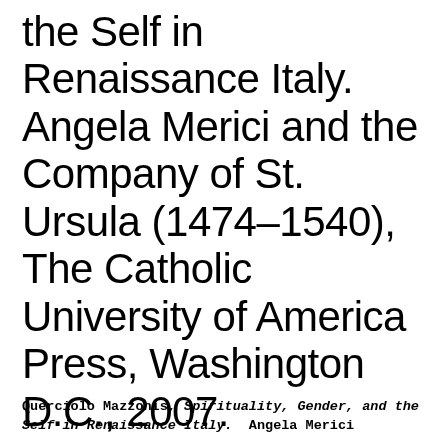the Self in Renaissance Italy. Angela Merici and the Company of St. Ursula (1474–1540), The Catholic University of America Press, Washington D.C., 2007.
Querciolo Mazzonis, Spirituality, Gender, and the Self in Renaissance Italy.  Angela Merici